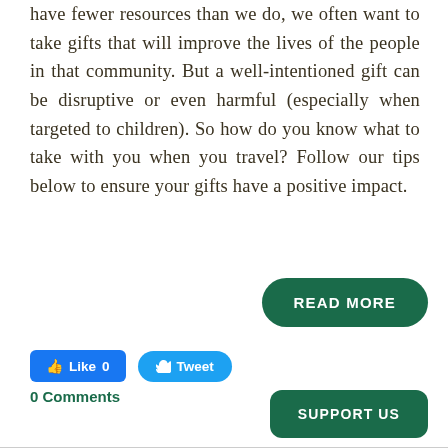have fewer resources than we do, we often want to take gifts that will improve the lives of the people in that community. But a well-intentioned gift can be disruptive or even harmful (especially when targeted to children). So how do you know what to take with you when you travel? Follow our tips below to ensure your gifts have a positive impact.
READ MORE
[Figure (other): Facebook Like button showing 0 likes and a Twitter Tweet button]
0 Comments
SUPPORT US